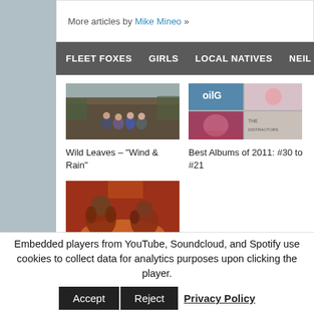More articles by Mike Mineo »
FLEET FOXES   GIRLS   LOCAL NATIVES   NEIL YO...
[Figure (photo): Band photo of Fleet Foxes standing outside a rustic wooden building]
Wild Leaves – "Wind & Rain"
[Figure (photo): Collage of album covers for Best Albums of 2011 #30 to #21]
Best Albums of 2011: #30 to #21
[Figure (photo): Video still of Fleet Foxes performing, red/warm tones, The Shrine/An Argument]
Video: Fleet Foxes – "The Shrine/An
Embedded players from YouTube, Soundcloud, and Spotify use cookies to collect data for analytics purposes upon clicking the player.
Accept   Reject   Privacy Policy